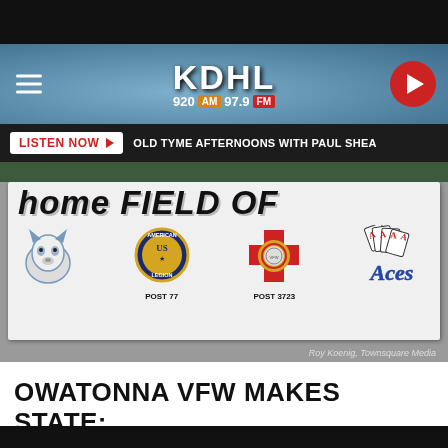[Figure (screenshot): KDHL radio station website header with hamburger menu, KDHL 920 AM 97.9 FM logo, and red circular play button on blue textured background]
LISTEN NOW ▶  OLD TYME AFTERNOONS WITH PAUL SHEA
[Figure (photo): Photo of a banner on a building wall reading 'Home Field Of' with logos for a husky mascot, American Legion Post 77, VFW Post 3723, and the Aces. Photo credit: Roy Koenig, Townsquare Media]
OWATONNA VFW MAKES STATE: